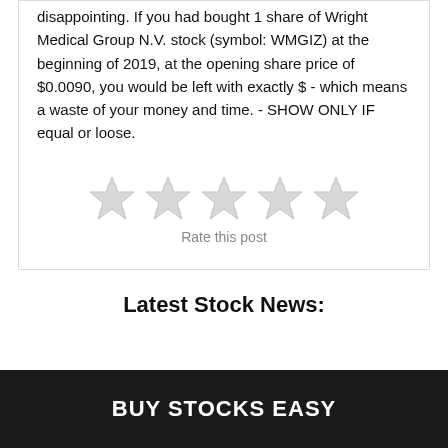disappointing. If you had bought 1 share of Wright Medical Group N.V. stock (symbol: WMGIZ) at the beginning of 2019, at the opening share price of $0.0090, you would be left with exactly $ - which means a waste of your money and time. - SHOW ONLY IF equal or loose.
[Figure (other): Five empty star rating icons (light gray) used for a 'Rate this post' widget]
Rate this post
Latest Stock News:
BUY STOCKS EASY